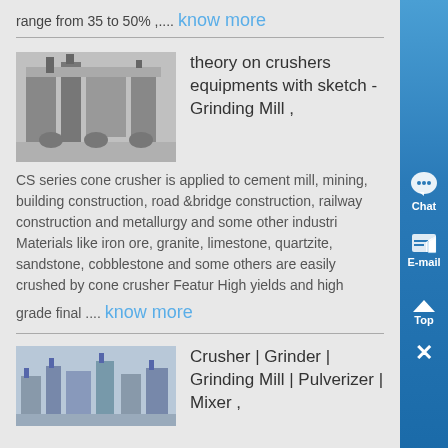range from 35 to 50% ,.... know more
[Figure (photo): Industrial crusher/grinding equipment machinery photo]
theory on crushers equipments with sketch - Grinding Mill ,
CS series cone crusher is applied to cement mill, mining, building construction, road &bridge construction, railway construction and metallurgy and some other industri Materials like iron ore, granite, limestone, quartzite, sandstone, cobblestone and some others are easily crushed by cone crusher Featur High yields and high
grade final .... know more
[Figure (photo): Industrial plant/grinding mill facility photo]
Crusher | Grinder | Grinding Mill | Pulverizer | Mixer ,